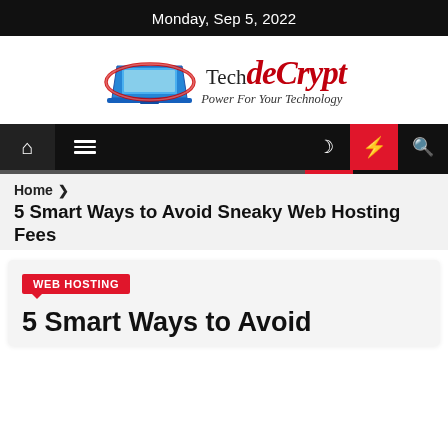Monday, Sep 5, 2022
[Figure (logo): TechDeCrypt logo with laptop graphic and red swoosh, tagline: Power For Your Technology]
[Figure (screenshot): Navigation bar with home icon, hamburger menu, dark mode moon icon, lightning bolt icon in red, and search icon]
Home > 5 Smart Ways to Avoid Sneaky Web Hosting Fees
5 Smart Ways to Avoid Sneaky Web Hosting Fees
WEB HOSTING
5 Smart Ways to Avoid